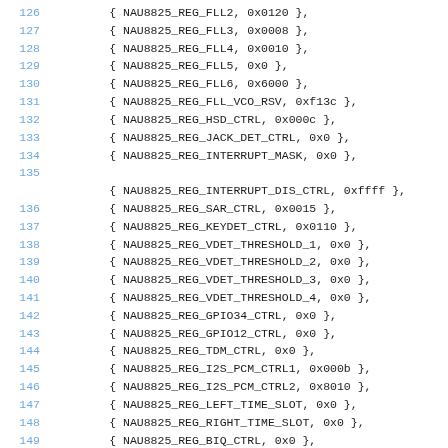Code listing showing NAU8825 register initialization entries, lines 126-149
126: { NAU8825_REG_FLL2, 0x0120 },
127: { NAU8825_REG_FLL3, 0x0008 },
128: { NAU8825_REG_FLL4, 0x0010 },
129: { NAU8825_REG_FLL5, 0x0 },
130: { NAU8825_REG_FLL6, 0x6000 },
131: { NAU8825_REG_FLL_VCO_RSV, 0xf13c },
132: { NAU8825_REG_HSD_CTRL, 0x000c },
133: { NAU8825_REG_JACK_DET_CTRL, 0x0 },
134: { NAU8825_REG_INTERRUPT_MASK, 0x0 },
135: (blank)
{ NAU8825_REG_INTERRUPT_DIS_CTRL, 0xffff },
136: { NAU8825_REG_SAR_CTRL, 0x0015 },
137: { NAU8825_REG_KEYDET_CTRL, 0x0110 },
138: { NAU8825_REG_VDET_THRESHOLD_1, 0x0 },
139: { NAU8825_REG_VDET_THRESHOLD_2, 0x0 },
140: { NAU8825_REG_VDET_THRESHOLD_3, 0x0 },
141: { NAU8825_REG_VDET_THRESHOLD_4, 0x0 },
142: { NAU8825_REG_GPIO34_CTRL, 0x0 },
143: { NAU8825_REG_GPIO12_CTRL, 0x0 },
144: { NAU8825_REG_TDM_CTRL, 0x0 },
145: { NAU8825_REG_I2S_PCM_CTRL1, 0x000b },
146: { NAU8825_REG_I2S_PCM_CTRL2, 0x8010 },
147: { NAU8825_REG_LEFT_TIME_SLOT, 0x0 },
148: { NAU8825_REG_RIGHT_TIME_SLOT, 0x0 },
149: { NAU8825_REG_BIQ_CTRL, 0x0 },